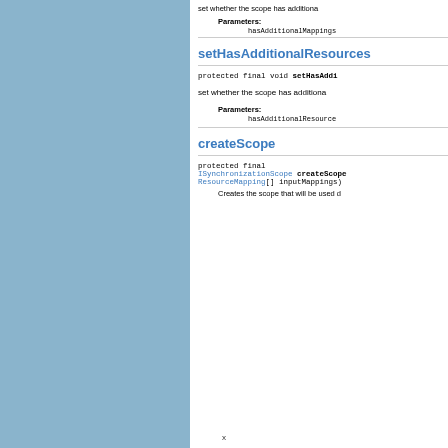set whether the scope has additional
Parameters:
hasAdditionalMappings
setHasAdditionalResources
protected final void setHasAddi
set whether the scope has additional
Parameters:
hasAdditionalResource
createScope
protected final ISynchronizationScope createScope ResourceMapping[] inputMappings)
Creates the scope that will be used d
x